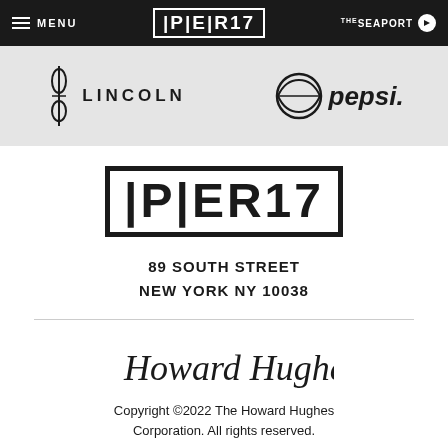MENU | PIER17 | THE SEAPORT
[Figure (logo): Lincoln car brand logo with vertical emblem and LINCOLN text]
[Figure (logo): Pepsi logo with circular globe mark and pepsi. wordmark]
[Figure (logo): Large PIER17 logo in bold block letters with border]
89 SOUTH STREET
NEW YORK NY 10038
[Figure (illustration): Howard Hughes cursive signature]
Copyright ©2022 The Howard Hughes Corporation. All rights reserved.